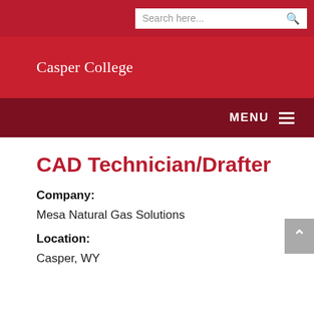Search here...
Casper College
MENU
CAD Technician/Drafter
Company:
Mesa Natural Gas Solutions
Location:
Casper, WY